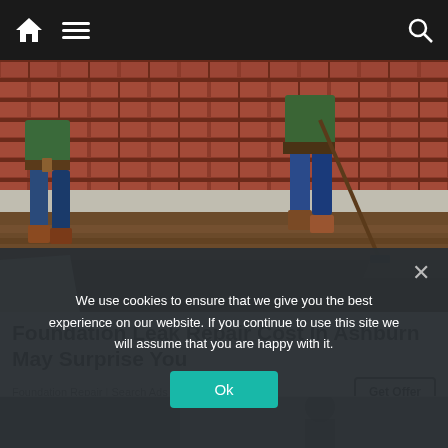Navigation bar with home icon, menu icon, and search icon
[Figure (photo): Two workers digging along a brick foundation wall, excavating soil next to a house foundation]
Foundation Leak Repair Cost In Ashburn May Surprise You
Foundation Repair | Search Ads | Sponsored
[Figure (photo): Partially visible second advertisement image showing a person]
We use cookies to ensure that we give you the best experience on our website. If you continue to use this site we will assume that you are happy with it.